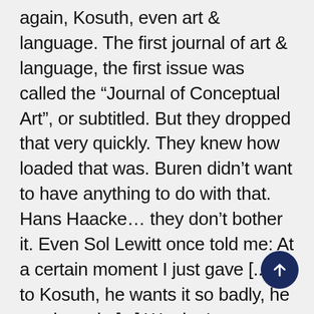again, Kosuth, even art & language. The first journal of art & language, the first issue was called the “Journal of Conceptual Art”, or subtitled. But they dropped that very quickly. They knew how loaded that was. Buren didn’t want to have anything to do with that. Hans Haacke… they don’t bother it. Even Sol Lewitt once told me: At a certain moment I just gave [...] it to Kosuth, he wants it so badly, he can have it. [...] We don’t care,
[Figure (other): Dark navy circular scroll-to-top button with upward arrow, positioned bottom-right]